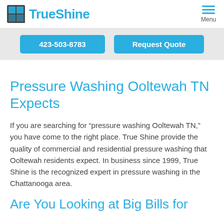TrueShine | Menu
423-503-8783 | Request Quote
Pressure Washing Ooltewah TN Expects
If you are searching for “pressure washing Ooltewah TN,” you have come to the right place. True Shine provide the quality of commercial and residential pressure washing that Ooltewah residents expect. In business since 1999, True Shine is the recognized expert in pressure washing in the Chattanooga area.
Are You Looking at Big Bills for